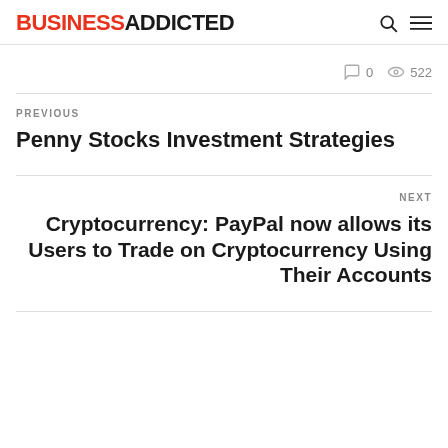BUSINESSADDICTED
0   522
PREVIOUS
Penny Stocks Investment Strategies
NEXT
Cryptocurrency: PayPal now allows its Users to Trade on Cryptocurrency Using Their Accounts